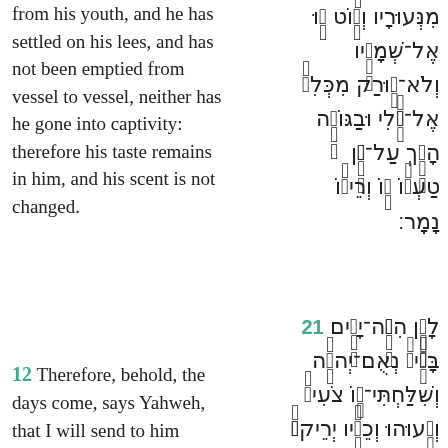from his youth, and he has settled on his lees, and has not been emptied from vessel to vessel, neither has he gone into captivity: therefore his taste remains in him, and his scent is not changed.
Hebrew text (Jeremiah 48:11 continued)
12 Therefore, behold, the days come, says Yahweh, that I will send to him those who pour off, and they shall pour him off; and they shall empty his vessels, and break their bottles in pieces.
Hebrew text (Jeremiah 48:12)